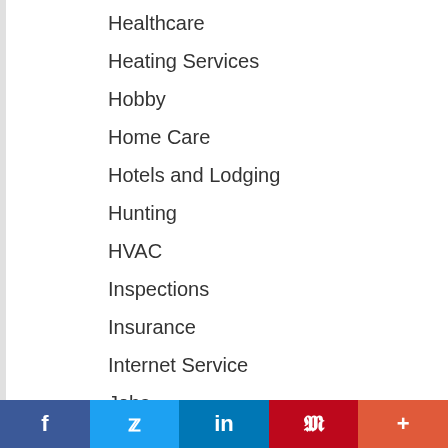Healthcare
Heating Services
Hobby
Home Care
Hotels and Lodging
Hunting
HVAC
Inspections
Insurance
Internet Service
Jobs
Kids
Kitchens
Landscaping
f  Twitter  in  P  +